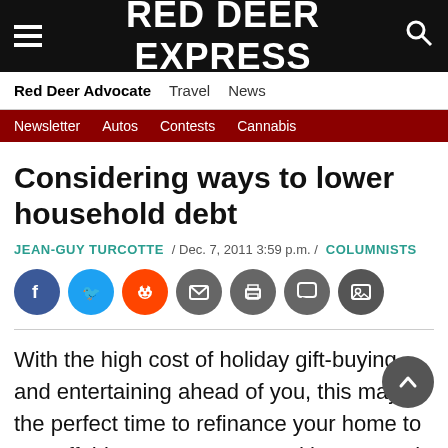RED DEER EXPRESS
Red Deer Advocate   Travel   News
Newsletter   Autos   Contests   Cannabis
Considering ways to lower household debt
JEAN-GUY TURCOTTE / Dec. 7, 2011 3:59 p.m. / COLUMNISTS
[Figure (infographic): Social sharing icons: Facebook, Twitter, Reddit, Email, Print, Comment, Photo]
With the high cost of holiday gift-buying and entertaining ahead of you, this may be the perfect time to refinance your home to pay off this year's unexpected home repair purchases; perhaps you made some impulse buying on the high interest rate credit cards or maybe it's just time to re-